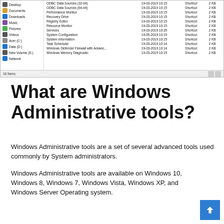[Figure (screenshot): Windows File Explorer showing Administrative Tools folder contents with left navigation panel (Desktop, Documents, Downloads, Music, Pictures, Videos, Acer (C:), Data (D:), New Volume (E:), Network) and right panel listing shortcut files (ODBC Data Sources 32-bit, ODBC Data Sources 64-bit, Performance Monitor, Recovery Drive, Registry Editor, Resource Monitor, Services, System Configuration, System Information, Task Scheduler, Windows Defender Firewall with Advanced, Windows Memory Diagnostic) with dates around 19-03-2019 10:15, type Shortcut, size 2 KB. Status bar shows 18 Items.]
What are Windows Administrative tools?
Windows Administrative tools are a set of several advanced tools used commonly by System administrators.
Windows Administrative tools are available on Windows 10, Windows 8, Windows 7, Windows Vista, Windows XP, and Windows Server Operating system.